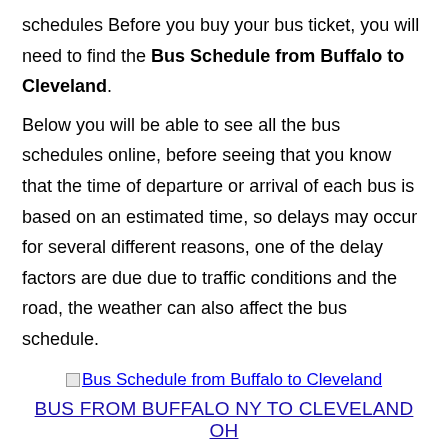schedules Before you buy your bus ticket, you will need to find the Bus Schedule from Buffalo to Cleveland.
Below you will be able to see all the bus schedules online, before seeing that you know that the time of departure or arrival of each bus is based on an estimated time, so delays may occur for several different reasons, one of the delay factors are due due to traffic conditions and the road, the weather can also affect the bus schedule.
[Figure (other): Image link: Bus Schedule from Buffalo to Cleveland]
BUS FROM BUFFALO NY TO CLEVELAND OH
One tip for your trip is no unforeseen and problems is to arrive in advance of the departure time at the boarding point of the bus. Traveler who know more bus schedules and values of bus tickets go here our page to see all the routes. Greyhound Bus Tickets
Below you will find a list of all the cities for which there is a service